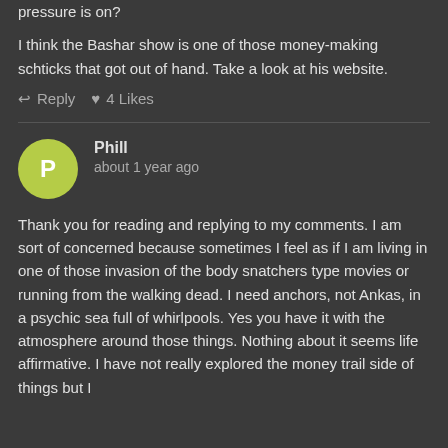pressure is on?
I think the Bashar show is one of those money-making schticks that got out of hand. Take a look at his website.
↩ Reply ♥ 4 Likes
Phill
about 1 year ago
Thank you for reading and replying to my comments. I am sort of concerned because sometimes I feel as if I am living in one of those invasion of the body snatchers type movies or running from the walking dead. I need anchors, not Ankas, in a psychic sea full of whirlpools. Yes you have it with the atmosphere around those things. Nothing about it seems life affirmative. I have not really explored the money trail side of things but I